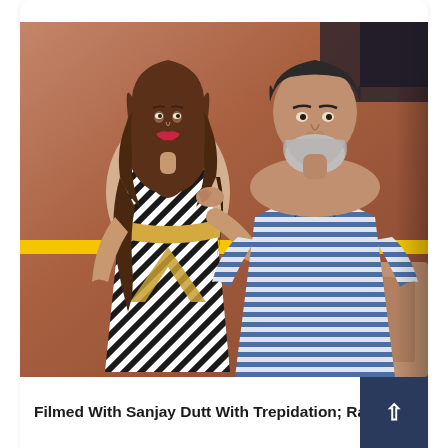[Figure (photo): Two people posing together indoors against a brown/copper wall background with a yellow stripe. On the left, a woman with long wavy brown hair wearing a black and white diagonal striped dress with a gold belt. On the right, an older man with a grey beard wearing a blue and white horizontal striped polo shirt. The man has his arm around the woman.]
Filmed With Sanjay Dutt With Trepidation; Raven...nd...